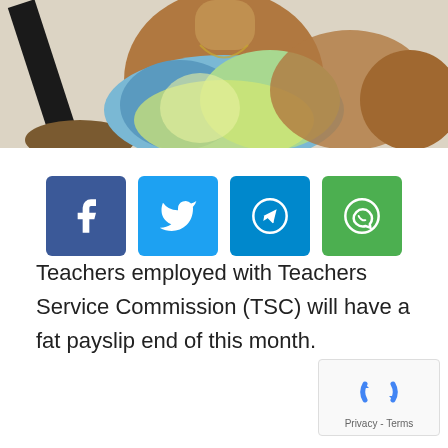[Figure (photo): Partial photo of a person wearing a colorful floral/patterned top, cropped at the top of the page, with a dark diagonal element on the left side.]
[Figure (infographic): Row of four social media sharing buttons: Facebook (blue/purple), Twitter (light blue), Telegram (blue), WhatsApp (green), each showing the respective icon.]
Teachers employed with Teachers Service Commission (TSC) will have a fat payslip end of this month.
[Figure (logo): reCAPTCHA badge with spinning arrow icon and Privacy - Terms links.]